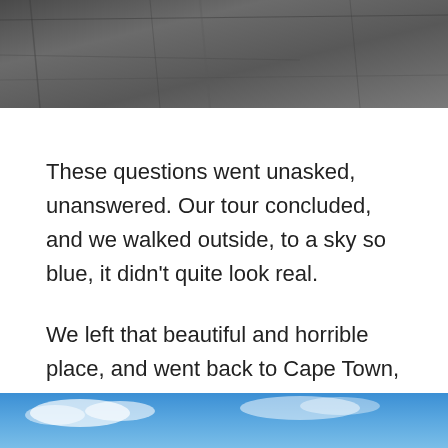[Figure (photo): Top portion of a photo showing a rocky stone or concrete wall/cliff surface in dark grey tones]
These questions went unasked, unanswered. Our tour concluded, and we walked outside, to a sky so blue, it didn't quite look real.
We left that beautiful and horrible place, and went back to Cape Town, with its touristy shops and vibrant waterfront. But Robben Island stayed with us long after we left.
[Figure (photo): Bottom portion of a photo showing a bright blue sky with some clouds and what appears to be a waterfront or coastal scene]